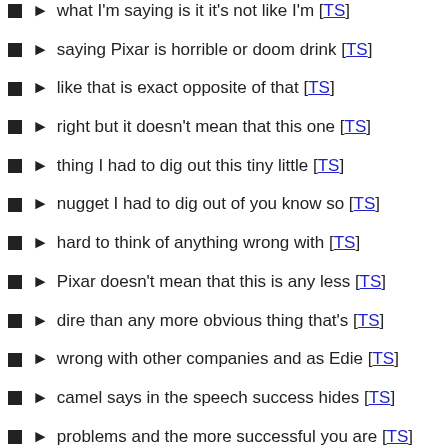what I'm saying is it it's not like I'm [TS]
saying Pixar is horrible or doom drink [TS]
like that is exact opposite of that [TS]
right but it doesn't mean that this one [TS]
thing I had to dig out this tiny little [TS]
nugget I had to dig out of you know so [TS]
hard to think of anything wrong with [TS]
Pixar doesn't mean that this is any less [TS]
dire than any more obvious thing that's [TS]
wrong with other companies and as Edie [TS]
camel says in the speech success hides [TS]
problems and the more successful you are [TS]